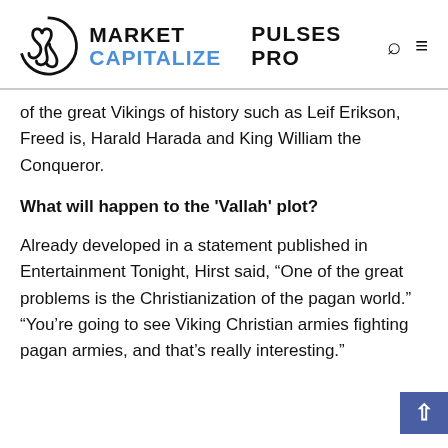[Figure (logo): Market Capitalize logo with stylized M letter in a circle, brand name MARKET CAPITALIZE in black and blue, and PULSES PRO text]
of the great Vikings of history such as Leif Erikson, Freed is, Harald Harada and King William the Conqueror.
What will happen to the 'Vallah' plot?
Already developed in a statement published in Entertainment Tonight, Hirst said, “One of the great problems is the Christianization of the pagan world.” “You’re going to see Viking Christian armies fighting pagan armies, and that’s really interesting.”